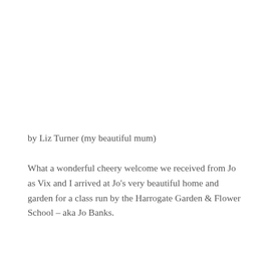by Liz Turner (my beautiful mum)
What a wonderful cheery welcome we received from Jo as Vix and I arrived at Jo's very beautiful home and garden for a class run by the Harrogate Garden & Flower School – aka Jo Banks.